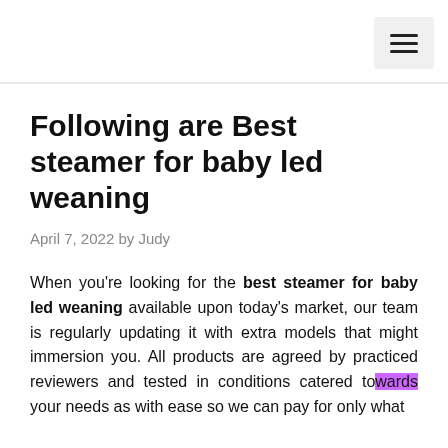☰ (hamburger menu icon)
Following are Best steamer for baby led weaning
April 7, 2022 by Judy
When you're looking for the best steamer for baby led weaning available upon today's market, our team is regularly updating it with extra models that might immersion you. All products are agreed by practiced reviewers and tested in conditions catered towards your needs as with ease so we can pay for only what